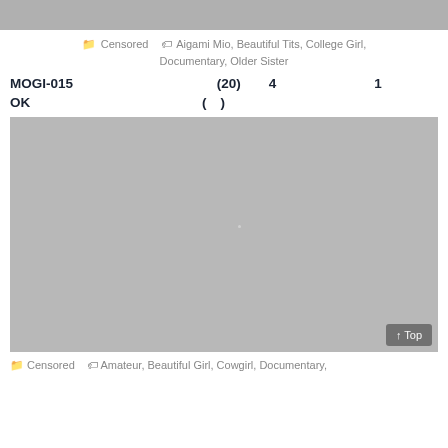[Figure (photo): Gray placeholder image at top of page]
Censored  Aigami Mio, Beautiful Tits, College Girl, Documentary, Older Sister
MOGI-015 　　　　　　　　　　(20)　　4　　　　　　　1　　　　　　　　　　　　　　　OK　　　　　　　　　 　　　(　)
[Figure (photo): Large gray placeholder image in center]
Censored  Amateur, Beautiful Girl, Cowgirl, Documentary,